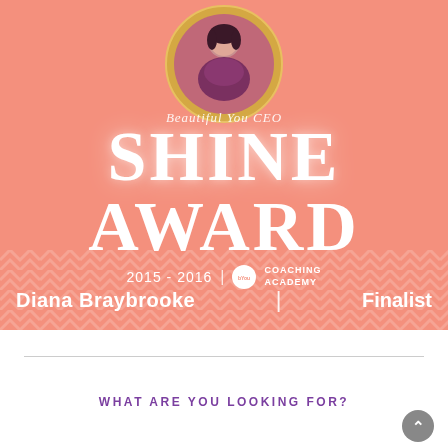[Figure (illustration): Beautiful You CEO Shine Award 2015-2016 banner with a woman's photo in a gold circle frame on a salmon/coral background with chevron pattern at bottom. Text reads 'Beautiful You CEO SHINE AWARD 2015 - 2016 | Beautiful You Coaching Academy'. Person named 'Diana Braybrooke | Finalist'.]
WHAT ARE YOU LOOKING FOR?